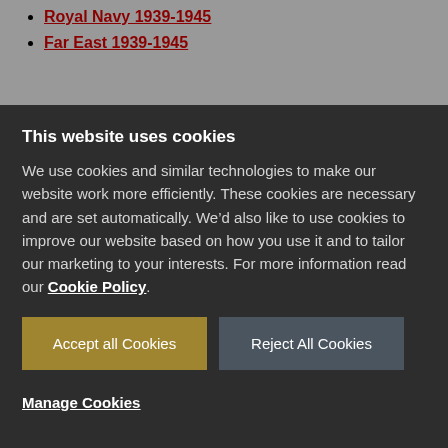Royal Navy 1939-1945
Far East 1939-1945
This website uses cookies
We use cookies and similar technologies to make our website work more efficiently. These cookies are necessary and are set automatically. We’d also like to use cookies to improve our website based on how you use it and to tailor our marketing to your interests. For more information read our Cookie Policy.
Accept all Cookies
Reject All Cookies
Manage Cookies